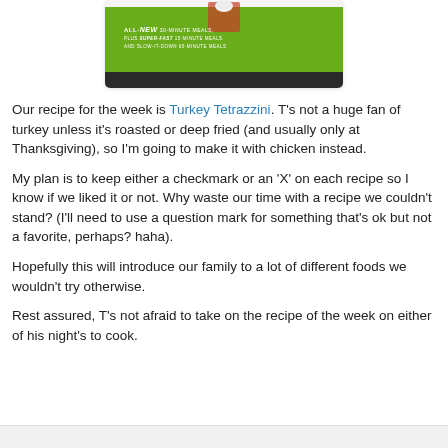[Figure (photo): Book cover showing a person in a white coat on a green background with text 'ALL-NEW 30-MINUTE MEALS, PLUS SUPER-FAST 15-MINUTE MEALS AND SLOW-IT-DOWN 60-MINUTE MEALS']
Our recipe for the week is Turkey Tetrazzini. T's not a huge fan of turkey unless it's roasted or deep fried (and usually only at Thanksgiving), so I'm going to make it with chicken instead.
My plan is to keep either a checkmark or an 'X' on each recipe so I know if we liked it or not. Why waste our time with a recipe we couldn't stand? (I'll need to use a question mark for something that's ok but not a favorite, perhaps? haha).
Hopefully this will introduce our family to a lot of different foods we wouldn't try otherwise.
Rest assured, T's not afraid to take on the recipe of the week on either of his night's to cook.